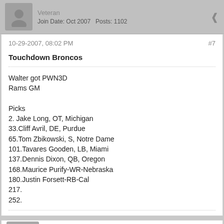Veteran
Join Date: Oct 2007  Posts: 1102
10-29-2007, 08:02 PM  #7
Touchdown Broncos
Walter got PWN3D
Rams GM

Picks
2. Jake Long, OT, Michigan
33.Cliff Avril, DE, Purdue
65.Tom Zbikowski, S, Notre Dame
101.Tavares Gooden, LB, Miami
137.Dennis Dixon, QB, Oregon
168.Maurice Purify-WR-Nebraska
180.Justin Forsett-RB-Cal
217.
252.
swifty222
Starter
Join Date: Jul 2007  Posts: 349